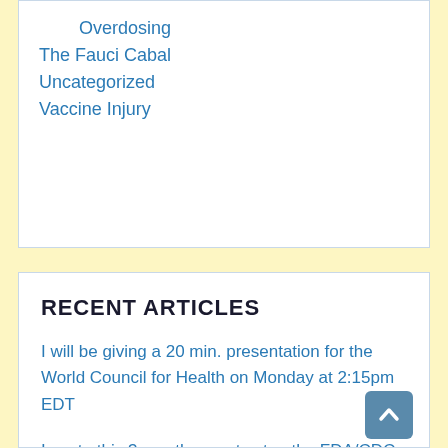Overdosing
The Fauci Cabal
Uncategorized
Vaccine Injury
RECENT ARTICLES
I will be giving a 20 min. presentation for the World Council for Health on Monday at 2:15pm EDT
I wrote this 3 months ago to stop the FDA/CDC from vaccinating babies and preschoolers. At the VRBPAC meeting the last two days, the members and briefers confirmed that I was spot on in my arguments.
My live blog of the disheartening FDA VRBPAC meeting today. I will be doing this again tomorrow, when the baby vaccines for Pfizer and Moderna are reviewed
WHO to rename money pox. I kid you not/ Stat